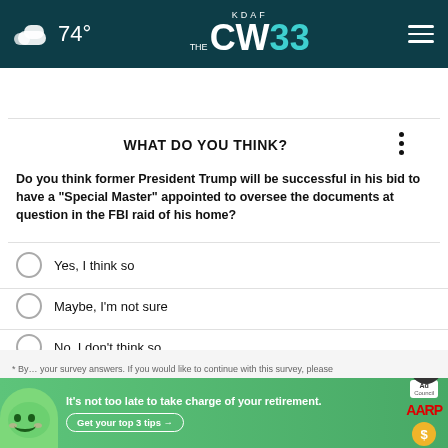74° KDAF CW 33
WHAT DO YOU THINK?
Do you think former President Trump will be successful in his bid to have a "Special Master" appointed to oversee the documents at question in the FBI raid of his home?
Yes, I think so
Maybe, I'm not sure
No, I don't think so
Other / No opinion
* By ... your survey answers. If you would like to continue with this survey, please
[Figure (screenshot): AARP advertisement banner: green background with cartoon character, text 'It's not too late to take charge of your retirement. Get your top 3 tips →', Ad Council and AARP logos with coin graphic.]